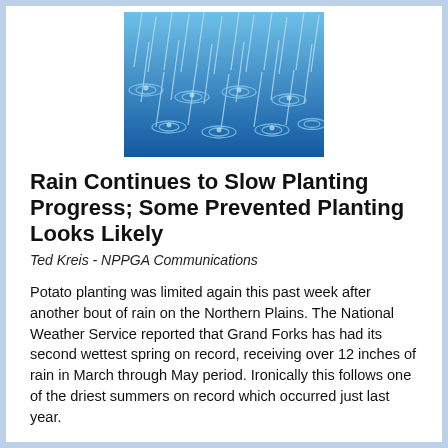[Figure (photo): Rain drops falling on water surface with ripples, blue toned photo]
Rain Continues to Slow Planting Progress; Some Prevented Planting Looks Likely
Ted Kreis - NPPGA Communications
Potato planting was limited again this past week after another bout of rain on the Northern Plains. The National Weather Service reported that Grand Forks has had its second wettest spring on record, receiving over 12 inches of rain in March through May period. Ironically this follows one of the driest summers on record which occurred just last year.
Potato planting progress varies greatly from farm to farm, but with less than 40% planted in North Dakota as of Sunday, it is becoming evident that there will be some prevented planting and a smaller size profiles on some potato plantings this fall.